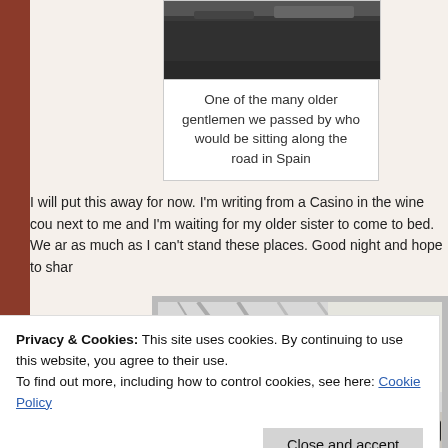[Figure (photo): Top portion of a photo showing a road or path in Spain, partially cropped at top]
One of the many older gentlemen we passed by who would be sitting along the road in Spain
I will put this away for now. I'm writing from a Casino in the wine cou... next to me and I'm waiting for my older sister to come to bed. We ar... as much as I can't stand these places. Good night and hope to shar...
[Figure (photo): Interior of what appears to be a large airport or station with structural beams; a yellow sign reading 'reos' and 'Tienda del Peregrino' visible; people in foreground]
Privacy & Cookies: This site uses cookies. By continuing to use this website, you agree to their use.
To find out more, including how to control cookies, see here: Cookie Policy
Close and accept